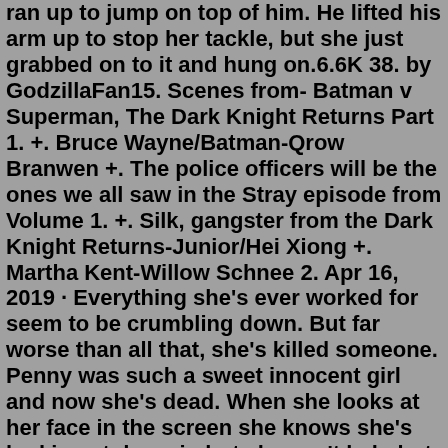ran up to jump on top of him. He lifted his arm up to stop her tackle, but she just grabbed on to it and hung on.6.6K 38. by GodzillaFan15. Scenes from- Batman v Superman, The Dark Knight Returns Part 1. +. Bruce Wayne/Batman-Qrow Branwen +. The police officers will be the ones we all saw in the Stray episode from Volume 1. +. Silk, gangster from the Dark Knight Returns-Junior/Hei Xiong +. Martha Kent-Willow Schnee 2. Apr 16, 2019 · Everything she's ever worked for seem to be crumbling down. But far worse than all that, she's killed someone. Penny was such a sweet innocent girl and now she's dead. When she looks at her face in the screen she knows she's looking at despair, but she can't help but imagine that there's a hint of ruthlessness. "What's a 'Batman'?" "Millionaire, Bruce Wayne's parents are murderer in an alley when he was eight. He becomes so vengeful, he joins a league of assassins called 'The League of Shadows' and they teach him how to become a vigilante, but when their ideals differ, he leaves them in hopes of changing Gotham without killing.Apr 18.